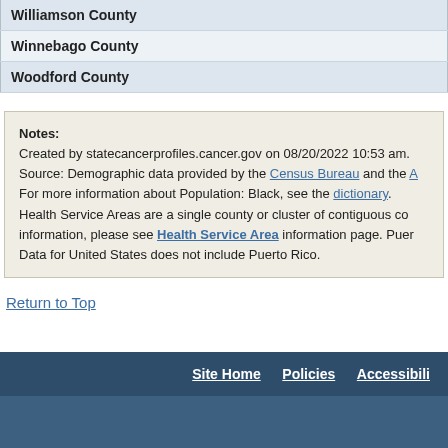| County |
| --- |
| Williamson County |
| Winnebago County |
| Woodford County |
Notes:
Created by statecancerprofiles.cancer.gov on 08/20/2022 10:53 am.
Source: Demographic data provided by the Census Bureau and the A...
For more information about Population: Black, see the dictionary.
Health Service Areas are a single county or cluster of contiguous co... information, please see Health Service Area information page. Puer...
Data for United States does not include Puerto Rico.
Return to Top
Site Home   Policies   Accessibility